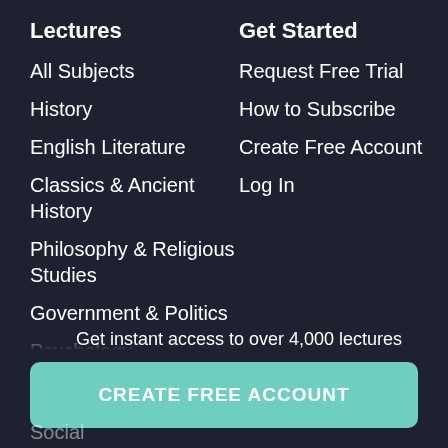Lectures
All Subjects
History
English Literature
Classics & Ancient History
Philosophy & Religious Studies
Government & Politics
Psychology
Sociology
Physics
Ch
Social
Get Started
Request Free Trial
How to Subscribe
Create Free Account
Log In
Get instant access to over 4,000 lectures
CREATE FREE ACCOUNT